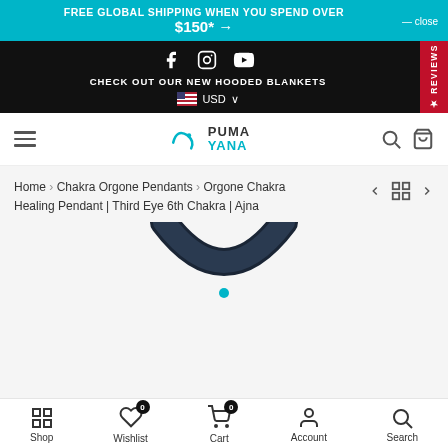FREE GLOBAL SHIPPING WHEN YOU SPEND OVER $150* → — close
f  CHECK OUT OUR NEW HOODED BLANKETS  🇺🇸 USD ∨  REVIEWS
☰  PUMA YANA  🔍 🛒
Home > Chakra Orgone Pendants > Orgone Chakra Healing Pendant | Third Eye 6th Chakra | Ajna
[Figure (photo): Dark navy/blue Orgone Chakra Healing Pendant necklace cord top portion visible]
Shop  Wishlist 0  Cart 0  Account  Search